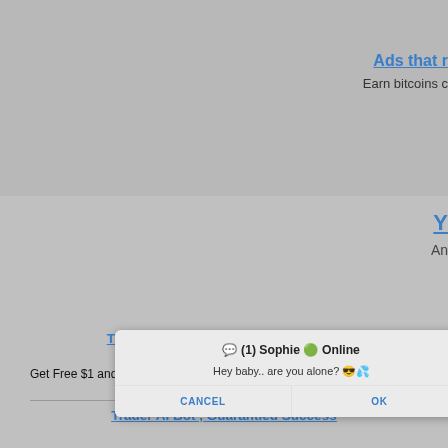Ads that r
Earn bitcoins c
Y
An
[Figure (screenshot): Mobile browser alert dialog with title '💬 (1) Sophie 🟢 Online', message 'Hey baby.. are you alone? 😎💦', and two buttons: CANCEL and OK]
ay at th
Join Now to get a
Trader AI Bot , Guarantied Success Trades
Get Free $1 and collect up to %70 Daily profit
ghooda.com
Trader AI Bot , Guarantied Success